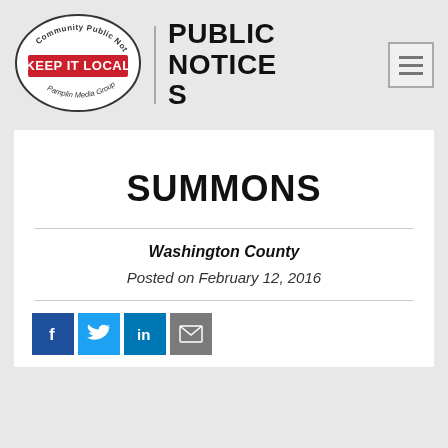[Figure (logo): Keep It Local - Community Public Notices - Pamplin Media Group logo with red rectangle and oval border]
PUBLIC NOTICES
[Figure (other): Hamburger menu icon]
SUMMONS
Washington County
Posted on February 12, 2016
[Figure (other): Social media sharing icons: Facebook, Twitter, LinkedIn, Email]